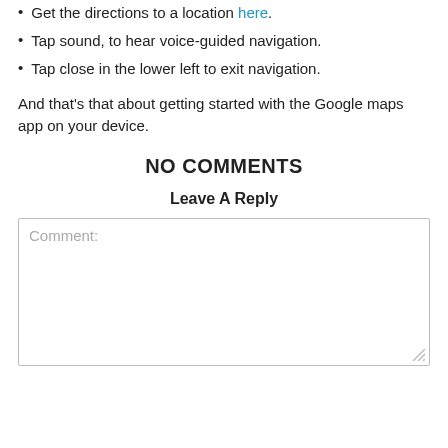Get the directions to a location here.
Tap sound, to hear voice-guided navigation.
Tap close in the lower left to exit navigation.
And that's that about getting started with the Google maps app on your device.
NO COMMENTS
Leave A Reply